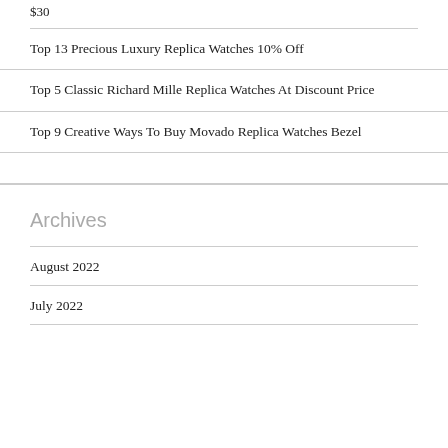$30
Top 13 Precious Luxury Replica Watches 10% Off
Top 5 Classic Richard Mille Replica Watches At Discount Price
Top 9 Creative Ways To Buy Movado Replica Watches Bezel
Archives
August 2022
July 2022